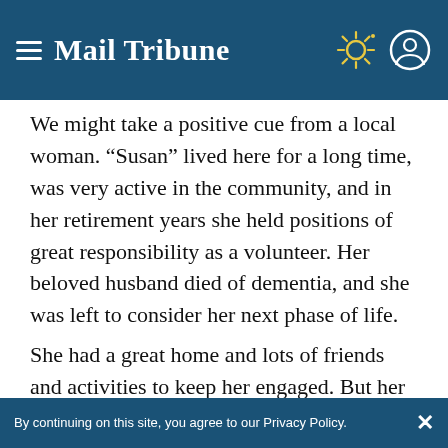Mail Tribune
We might take a positive cue from a local woman. “Susan” lived here for a long time, was very active in the community, and in her retirement years she held positions of great responsibility as a volunteer. Her beloved husband died of dementia, and she was left to consider her next phase of life.

She had a great home and lots of friends and activities to keep her engaged. But her family, who lived out of state, wanted her closer to them...
By continuing on this site, you agree to our Privacy Policy.